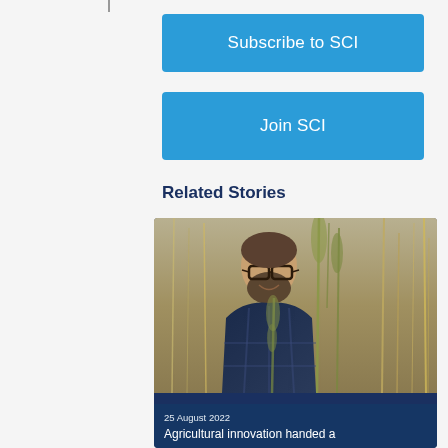[Figure (other): Blue button: Subscribe to SCI]
[Figure (other): Blue button: Join SCI]
Related Stories
[Figure (photo): Photo of a bearded man with glasses wearing a dark blue plaid shirt, smiling, standing in a field of tall dry grasses and wildflants. Overlaid at the bottom is a dark blue banner with date '25 August 2022' and partial headline 'Agricultural innovation handed a']
25 August 2022
Agricultural innovation handed a